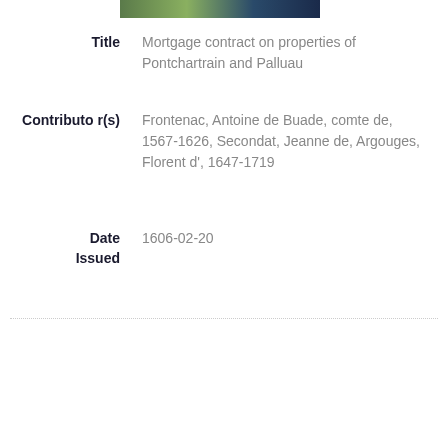[Figure (photo): Colorful banner image at the top of the page]
Title
Mortgage contract on properties of Pontchartrain and Palluau
Contributor(s)
Frontenac, Antoine de Buade, comte de, 1567-1626, Secondat, Jeanne de, Argouges, Florent d', 1647-1719
Date Issued
1606-02-20
[Figure (photo): Photograph of an old handwritten manuscript document with a ruler on the left side and a dark spine binding]